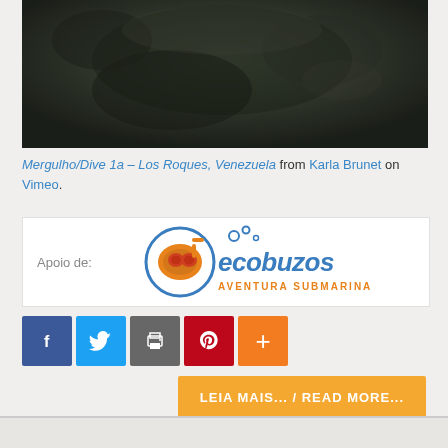[Figure (photo): Underwater diving scene with dark greenish-grey tones, appears to show a diver or sea creature in murky water]
Mergulho/Dive 1a – Los Roques, Venezuela from Karla Brunet on Vimeo.
[Figure (logo): Ecobuzos logo - Aventura Submarina. Shows a diver with snorkel mask inside a circular badge, with bubbles and blue text reading ecobuzos and orange text AVENTURA SUBMARINA. Label reads Apoio de:]
[Figure (other): Social share buttons: Facebook (blue), Twitter (light blue), Print (grey), Pinterest (red), More (orange)]
LEIA MAIS... / READ MORE...